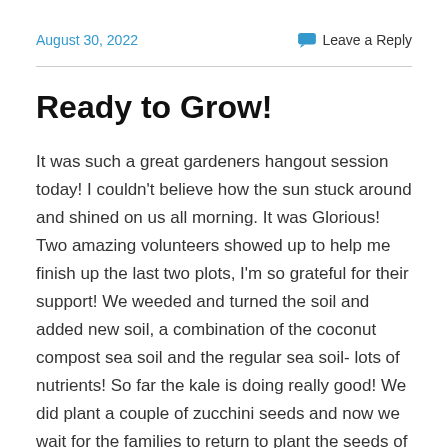August 30, 2022   Leave a Reply
Ready to Grow!
It was such a great gardeners hangout session today! I couldn't believe how the sun stuck around and shined on us all morning. It was Glorious! Two amazing volunteers showed up to help me finish up the last two plots, I'm so grateful for their support! We weeded and turned the soil and added new soil, a combination of the coconut compost sea soil and the regular sea soil- lots of nutrients! So far the kale is doing really good! We did plant a couple of zucchini seeds and now we wait for the families to return to plant the seeds of their choice next week. Below